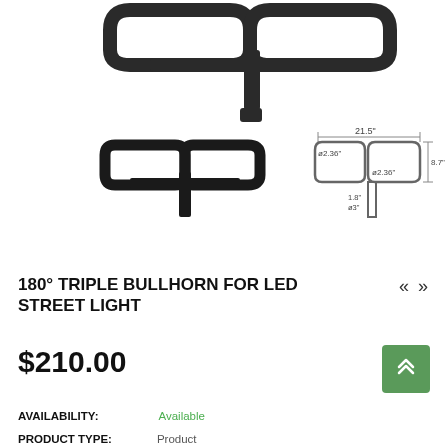[Figure (engineering-diagram): 180 degree triple bullhorn bracket for LED street light shown in two views: a 3D perspective view (top) showing the dark metal triple bullhorn arm assembly, and a side-view schematic with dimensions: 21.5" width, ø2.36" diameters, 8.7" height, and ø3" base diameter.]
180° TRIPLE BULLHORN FOR LED STREET LIGHT
$210.00
AVAILABILITY: Available
PRODUCT TYPE: Product